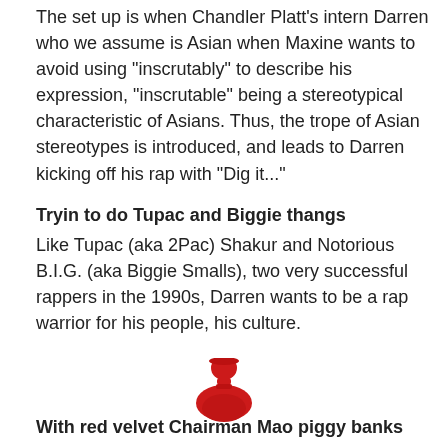The set up is when Chandler Platt's intern Darren who we assume is Asian when Maxine wants to avoid using "inscrutably" to describe his expression, "inscrutable" being a stereotypical characteristic of Asians. Thus, the trope of Asian stereotypes is introduced, and leads to Darren kicking off his rap with "Dig it..."
Tryin to do Tupac and Biggie thangs
Like Tupac (aka 2Pac) Shakur and Notorious B.I.G. (aka Biggie Smalls), two very successful rappers in the 1990s, Darren wants to be a rap warrior for his people, his culture.
[Figure (photo): A red velvet figurine resembling Chairman Mao, shown from the torso up, styled like a piggy bank or decorative statue.]
With red velvet Chairman Mao piggy banks